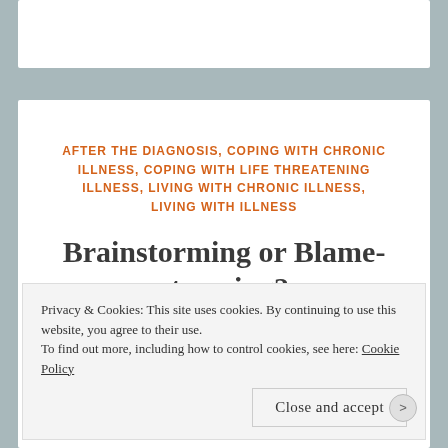AFTER THE DIAGNOSIS, COPING WITH CHRONIC ILLNESS, COPING WITH LIFE THREATENING ILLNESS, LIVING WITH CHRONIC ILLNESS, LIVING WITH ILLNESS
Brainstorming or Blame-storming?
Privacy & Cookies: This site uses cookies. By continuing to use this website, you agree to their use.
To find out more, including how to control cookies, see here: Cookie Policy
Close and accept